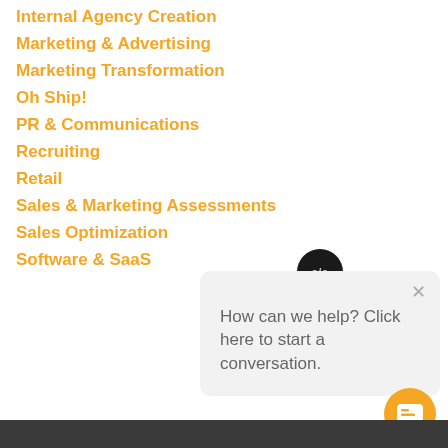Internal Agency Creation
Marketing & Advertising
Marketing Transformation
Oh Ship!
PR & Communications
Recruiting
Retail
Sales & Marketing Assessments
Sales Optimization
Software & SaaS
[Figure (screenshot): Chat widget popup with c/c avatar icon showing 'How can we help? Click here to start a conversation.' with close button]
[Figure (screenshot): Orange circular chat FAB button with speech bubble icon]